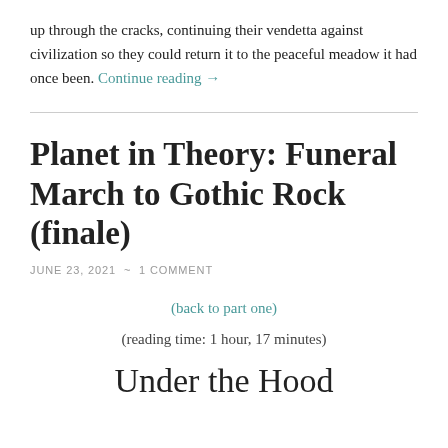up through the cracks, continuing their vendetta against civilization so they could return it to the peaceful meadow it had once been. Continue reading →
Planet in Theory: Funeral March to Gothic Rock (finale)
JUNE 23, 2021 ~ 1 COMMENT
(back to part one)
(reading time: 1 hour, 17 minutes)
Under the Hood